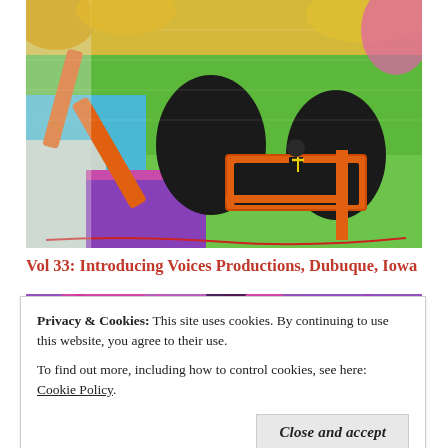[Figure (photo): Artist on an orange scissor lift / boom lift painting a large colorful mural on a brick wall. The mural features bright colors: yellow, green, blue, pink, purple, and black bird silhouette shapes.]
Vol 33: Introducing Voices Productions, Dubuque, Iowa
[Figure (photo): Close-up of a colorful mural showing stylized figures with pink/purple hair against a purple background.]
Privacy & Cookies:  This site uses cookies. By continuing to use this website, you agree to their use.
To find out more, including how to control cookies, see here: Cookie Policy
[Figure (photo): Bottom strip showing a group of people with colorful clothing and hair.]